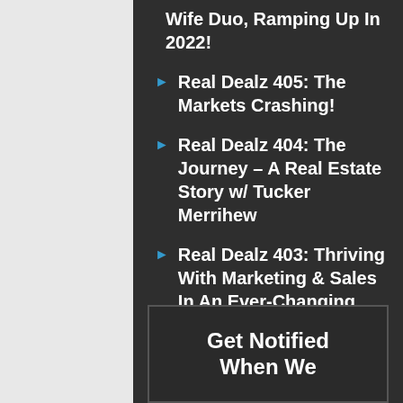Wife Duo, Ramping Up In 2022!
Real Dealz 405: The Markets Crashing!
Real Dealz 404: The Journey – A Real Estate Story w/ Tucker Merrihew
Real Dealz 403: Thriving With Marketing & Sales In An Ever-Changing Market!
Get Notified When We